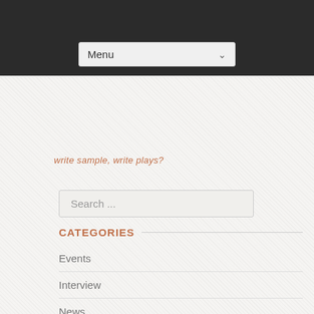[Figure (screenshot): Dark navigation header bar with Menu dropdown]
write sample, write plays?
Search ...
CATEGORIES
Events
Interview
News
Story
Testimonials
Tips
META